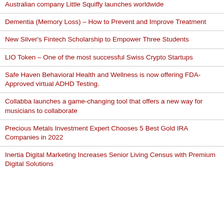Australian company Little Squiffy launches worldwide
Dementia (Memory Loss) – How to Prevent and Improve Treatment
New Silver's Fintech Scholarship to Empower Three Students
LIO Token – One of the most successful Swiss Crypto Startups
Safe Haven Behavioral Health and Wellness is now offering FDA-Approved virtual ADHD Testing.
Collabba launches a game-changing tool that offers a new way for musicians to collaborate
Precious Metals Investment Expert Chooses 5 Best Gold IRA Companies in 2022
Inertia Digital Marketing Increases Senior Living Census with Premium Digital Solutions